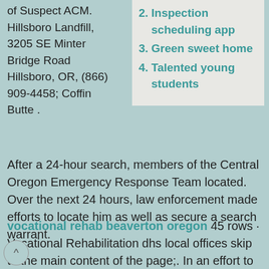of Suspect ACM. Hillsboro Landfill, 3205 SE Minter Bridge Road Hillsboro, OR, (866) 909-4458; Coffin Butte .
2. Inspection scheduling app
3. Green sweet home
4. Talented young students
After a 24-hour search, members of the Central Oregon Emergency Response Team located. Over the next 24 hours, law enforcement made efforts to locate him as well as secure a search warrant.
vocational rehab beaverton oregon 45 rows · Vocational Rehabilitation dhs local offices skip to the main content of the page;. In an effort to help slow the spread of COVID-19 in Oregon, and protect employees and the public, we changed the way we provide